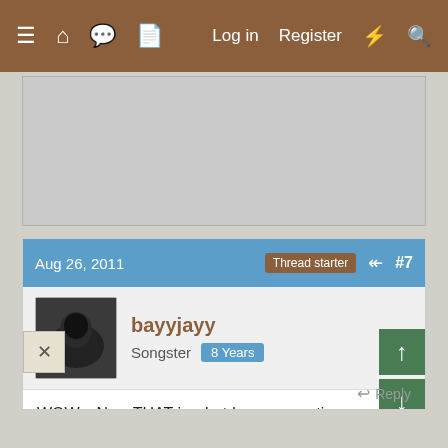≡  🏠  💬  📄    Log in   Register   ⚡   🔍
[Figure (screenshot): Gray advertisement placeholder area]
Aug 26, 2011   Thread starter   #7
bayyjayy
Songster   8 Years
WOW....Now THAT is what I was expecting mine to look like!!!! I am a bit disappointed in their coloring. How young did your duck get that green?

When I had the chance to get mine, I never thought about bad quality, I just assumed they would all be as green as they should be. I still adore mine, and they are really gorgeous, but....I would LOVE to have one your color.